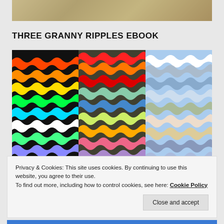[Figure (photo): Partial top image, appears to be a decorative rug or textile with ornate pattern]
THREE GRANNY RIPPLES EBOOK
[Figure (photo): Three colorful crochet ripple/chevron blankets displayed together - one with black background and neon colors, one with multicolored ripples, one with blue and pastel tones]
Privacy & Cookies: This site uses cookies. By continuing to use this website, you agree to their use.
To find out more, including how to control cookies, see here: Cookie Policy
Close and accept